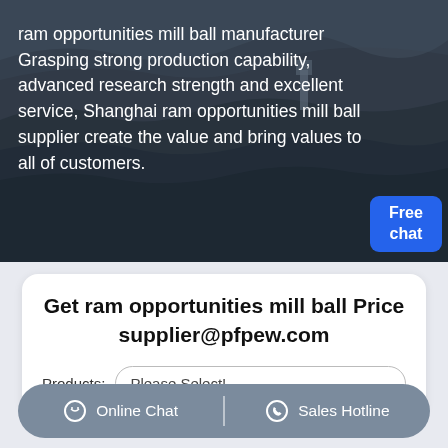[Figure (photo): Aerial view of a mining site with heavy machinery and dark rocky terrain. White overlay text describes ram opportunities mill ball manufacturer.]
ram opportunities mill ball manufacturer Grasping strong production capability, advanced research strength and excellent service, Shanghai ram opportunities mill ball supplier create the value and bring values to all of customers.
Get ram opportunities mill ball Price supplier@pfpew.com
Products: Please Select!
Online Chat | Sales Hotline